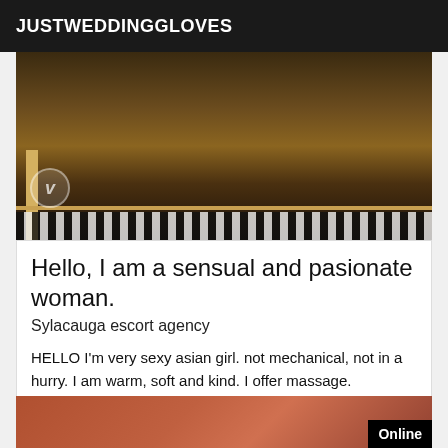JUSTWEDDINGGLOVES
[Figure (photo): Photo showing what appears to be a wooden shelf or furniture piece with a patterned rug on the floor, with a watermark logo in the lower left corner.]
Hello, I am a sensual and pasionate woman.
Sylacauga escort agency
HELLO I'm very sexy asian girl. not mechanical, not in a hurry. I am warm, soft and kind. I offer massage. Unforgettable, a true and pleasant moment of relaxation of softness. Full of charm I receive in my private apartment, clean and discreet welcome in very sexy and fine lingerie. I DO NOT PRACTICE ANAL SEX *I DO NOT ANSWER SMS AND NUMBERS MASK. I DO NOT MOVE.
[Figure (photo): Partial photo visible at bottom of page with an Online badge in the lower right corner.]